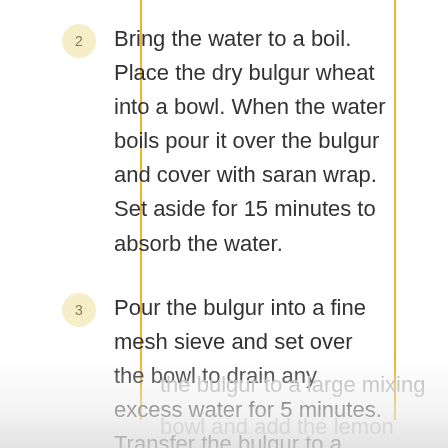2  Bring the water to a boil. Place the dry bulgur wheat into a bowl. When the water boils pour it over the bulgur and cover with saran wrap. Set aside for 15 minutes to absorb the water.
3  Pour the bulgur into a fine mesh sieve and set over the bowl to drain any excess water for 5 minutes. Transfer the bulgur to a large mixing bowl and add the lemon